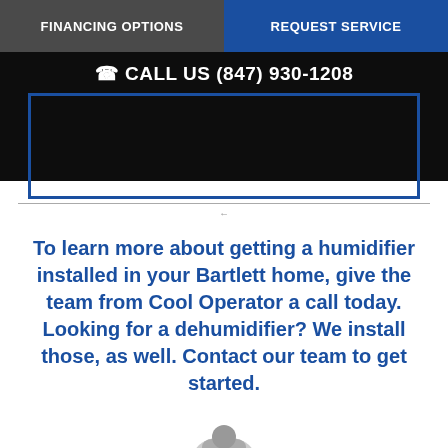FINANCING OPTIONS
REQUEST SERVICE
CALL US (847) 930-1208
[Figure (photo): Dark/black image area with blue border frame, partially visible]
To learn more about getting a humidifier installed in your Bartlett home, give the team from Cool Operator a call today. Looking for a dehumidifier? We install those, as well. Contact our team to get started.
[Figure (illustration): Partial illustration of a character or mascot at the bottom of the page]